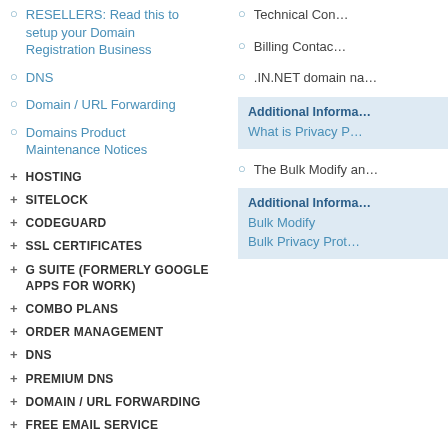RESELLERS: Read this to setup your Domain Registration Business
DNS
Domain / URL Forwarding
Domains Product Maintenance Notices
+ HOSTING
+ SITELOCK
+ CODEGUARD
+ SSL CERTIFICATES
+ G SUITE (FORMERLY GOOGLE APPS FOR WORK)
+ COMBO PLANS
+ ORDER MANAGEMENT
+ DNS
+ PREMIUM DNS
+ DOMAIN / URL FORWARDING
+ FREE EMAIL SERVICE
Technical Con...
Billing Contac...
.IN.NET domain na...
Additional Informa... What is Privacy P...
The Bulk Modify an...
Additional Informa... Bulk Modify  Bulk Privacy Prot...